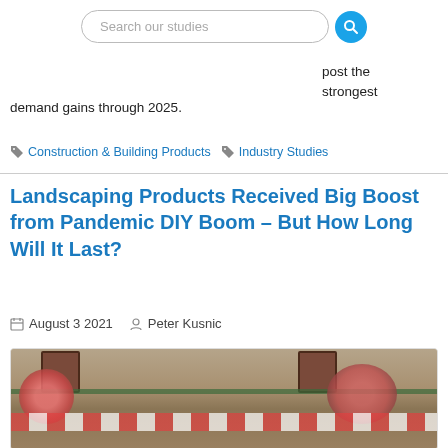Search our studies
post the strongest demand gains through 2025.
Construction & Building Products
Industry Studies
Landscaping Products Received Big Boost from Pandemic DIY Boom – But How Long Will It Last?
August 3 2021  Peter Kusnic
[Figure (photo): Photo of a building exterior with flower boxes, decorative plants, and shuttered windows]